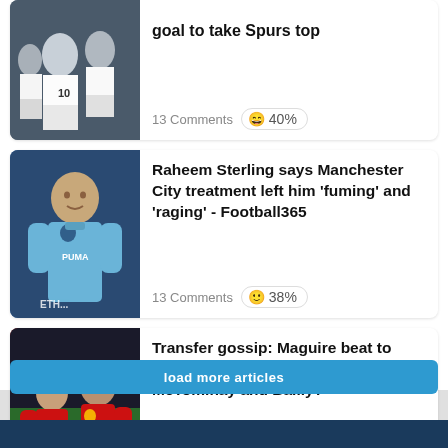[Figure (photo): Tottenham Hotspur players in white jerseys looking dejected]
goal to take Spurs top
13 Comments 😄 40%
[Figure (photo): Raheem Sterling in Manchester City light blue jersey]
Raheem Sterling says Manchester City treatment left him 'fuming' and 'raging' - Football365
13 Comments 🙂 38%
[Figure (photo): Two Manchester United players in red jerseys, number 39 visible]
Transfer gossip: Maguire beat to Manchester United exit door by McTominay and Bailly?
8 Comments 🤣 33%